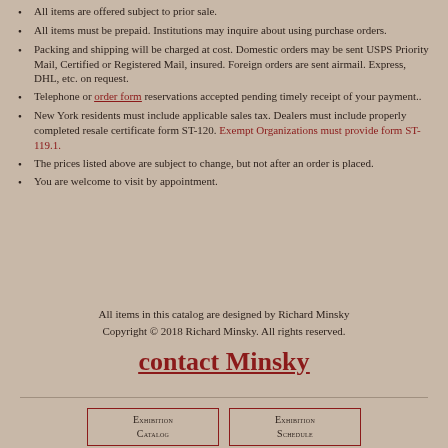All items are offered subject to prior sale.
All items must be prepaid. Institutions may inquire about using purchase orders.
Packing and shipping will be charged at cost. Domestic orders may be sent USPS Priority Mail, Certified or Registered Mail, insured. Foreign orders are sent airmail. Express, DHL, etc. on request.
Telephone or order form reservations accepted pending timely receipt of your payment..
New York residents must include applicable sales tax. Dealers must include properly completed resale certificate form ST-120. Exempt Organizations must provide form ST-119.1.
The prices listed above are subject to change, but not after an order is placed.
You are welcome to visit by appointment.
All items in this catalog are designed by Richard Minsky
Copyright © 2018 Richard Minsky. All rights reserved.
contact Minsky
Exhibition Catalog | Exhibition Schedule